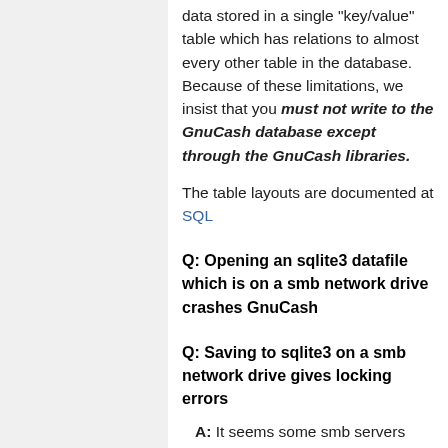data stored in a single "key/value" table which has relations to almost every other table in the database. Because of these limitations, we insist that you must not write to the GnuCash database except through the GnuCash libraries.
The table layouts are documented at SQL
Q: Opening an sqlite3 datafile which is on a smb network drive crashes GnuCash
Q: Saving to sqlite3 on a smb network drive gives locking errors
A: It seems some smb servers don't deal well with the low level file locking required by sqlite3. It was experienced when the sqlite3 file